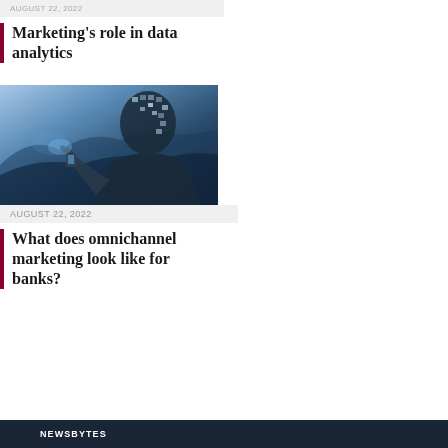AUGUST 22, 2022
Marketing's role in data analytics
[Figure (photo): Digital composite image showing a human silhouette made of digital tiles/screens with a person holding a device, blue-toned futuristic technology imagery]
AUGUST 22, 2022
What does omnichannel marketing look like for banks?
NEWSBYTES